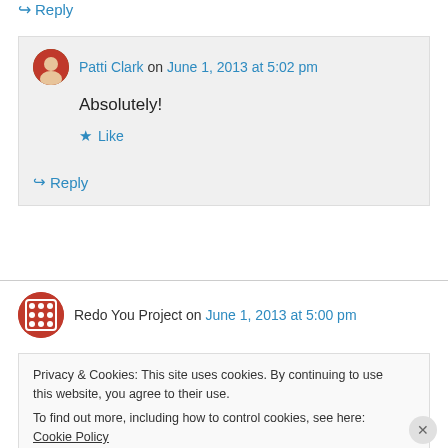↪ Reply
Patti Clark on June 1, 2013 at 5:02 pm
Absolutely!
★ Like
↪ Reply
Redo You Project on June 1, 2013 at 5:00 pm
Privacy & Cookies: This site uses cookies. By continuing to use this website, you agree to their use.
To find out more, including how to control cookies, see here: Cookie Policy
Close and accept